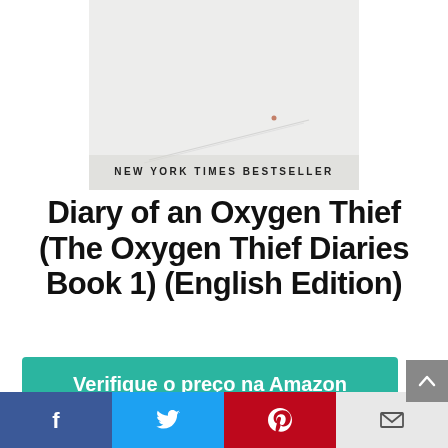[Figure (photo): Book cover of 'Diary of an Oxygen Thief' showing a faint minimalist image with text 'NEW YORK TIMES BESTSELLER' at the bottom]
Diary of an Oxygen Thief (The Oxygen Thief Diaries Book 1) (English Edition)
Verifique o preço na Amazon
Amazon.com.br